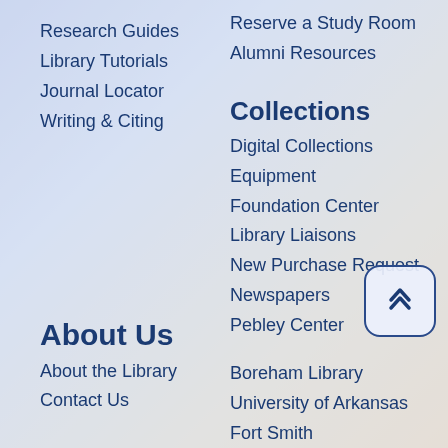Research Guides
Library Tutorials
Journal Locator
Writing & Citing
Reserve a Study Room
Alumni Resources
Collections
Digital Collections
Equipment
Foundation Center
Library Liaisons
New Purchase Request
Newspapers
Pebley Center
About Us
About the Library
Contact Us
Boreham Library
University of Arkansas
Fort Smith
5210 Grand Avenue